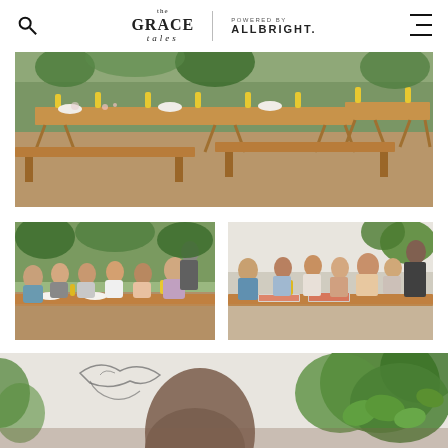The Grace Tales | Powered by ALLBRIGHT.
[Figure (photo): Outdoor dining setup with long wooden trestle tables and benches arranged in a sunny garden, decorated with yellow bottles and plates]
[Figure (photo): Children sitting at wooden outdoor tables eating and drinking from yellow bottles in a garden setting with adults standing]
[Figure (photo): Children eating pizza and drinking from yellow bottles at a long outdoor table, with food trays visible]
[Figure (photo): Close-up of tree trunk and lush green plants/herbs in a garden, partially cropped]